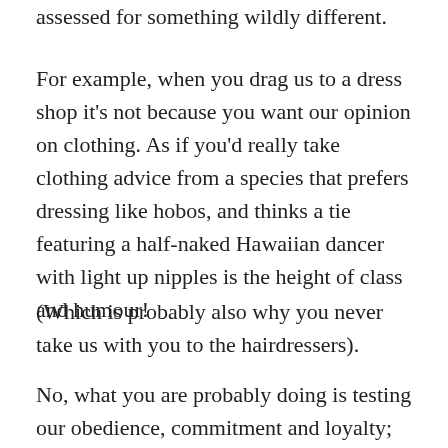assessed for something wildly different.
For example, when you drag us to a dress shop it's not because you want our opinion on clothing. As if you'd really take clothing advice from a species that prefers dressing like hobos, and thinks a tie featuring a half-naked Hawaiian dancer with light up nipples is the height of class and humour!
(Which is probably also why you never take us with you to the hairdressers).
No, what you are probably doing is testing our obedience, commitment and loyalty; or finding our limit